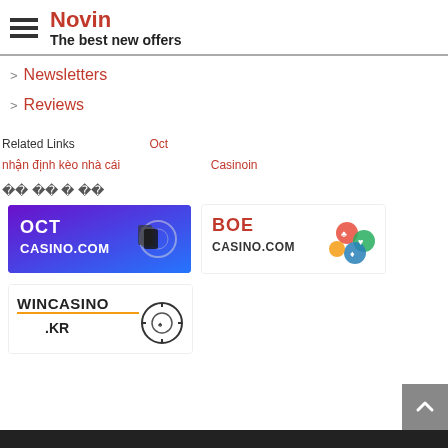Novin — The best new offers
> Newsletters
> Reviews
Related Links  ооооо  Octооо  ооооо  ооооооо  ооооо  ооооооо  nhận định kèo nhà cái  оооооо  Casinoin
00 00 0 00
[Figure (logo): OCT CASINO.COM banner logo with roulette, cards, and chips on purple background]
[Figure (logo): BOE CASINO.COM banner logo with cards and colorful chips on white background]
[Figure (logo): WINCASINO.KR banner logo with roulette wheel on white/yellow background]